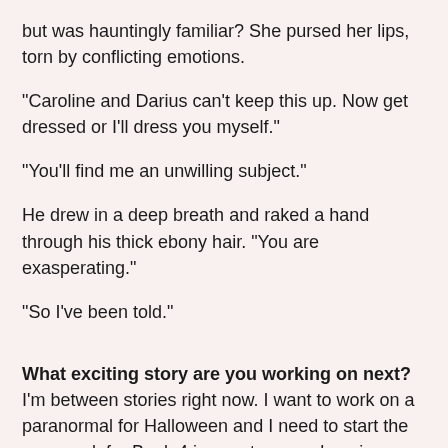but was hauntingly familiar? She pursed her lips, torn by conflicting emotions.
"Caroline and Darius can't keep this up. Now get dressed or I'll dress you myself."
"You'll find me an unwilling subject."
He drew in a deep breath and raked a hand through his thick ebony hair. "You are exasperating."
"So I've been told."
What exciting story are you working on next? I'm between stories right now. I want to work on a paranormal for Halloween and I need to start the prep work for Book 4 in my steampunk series, "The Windsor Diaries." In June, I'll have a short story coming out called "Arrow Through the Heart," in the Victory Tales Press Summer Anthology and Book 3 of The Windsor Diaries is coming out